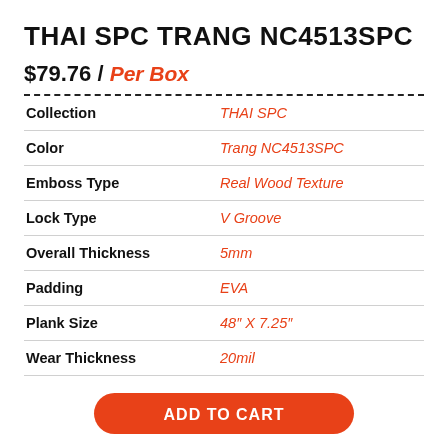THAI SPC TRANG NC4513SPC
$79.76 / Per Box
| Property | Value |
| --- | --- |
| Collection | THAI SPC |
| Color | Trang NC4513SPC |
| Emboss Type | Real Wood Texture |
| Lock Type | V Groove |
| Overall Thickness | 5mm |
| Padding | EVA |
| Plank Size | 48" X 7.25" |
| Wear Thickness | 20mil |
ADD TO CART